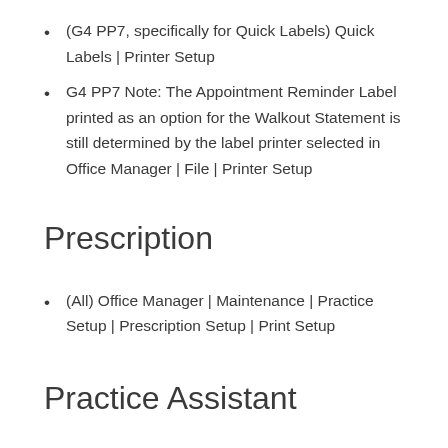(G4 PP7, specifically for Quick Labels) Quick Labels | Printer Setup
G4 PP7 Note: The Appointment Reminder Label printed as an option for the Walkout Statement is still determined by the label printer selected in Office Manager | File | Printer Setup
Prescription
(All) Office Manager | Maintenance | Practice Setup | Prescription Setup | Print Setup
Practice Assistant
(All) Office Manager | Analysis | Practice Assistant |